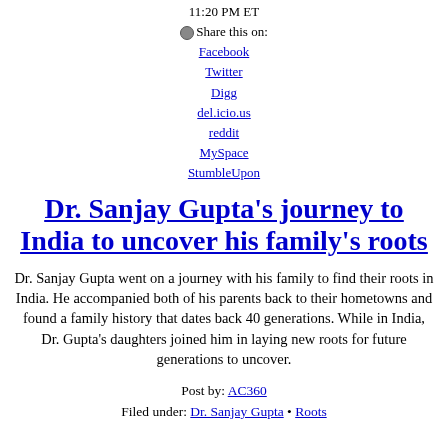11:20 PM ET
Share this on: Facebook Twitter Digg del.icio.us reddit MySpace StumbleUpon
Dr. Sanjay Gupta's journey to India to uncover his family's roots
Dr. Sanjay Gupta went on a journey with his family to find their roots in India. He accompanied both of his parents back to their hometowns and found a family history that dates back 40 generations. While in India, Dr. Gupta's daughters joined him in laying new roots for future generations to uncover.
Post by: AC360
Filed under: Dr. Sanjay Gupta • Roots